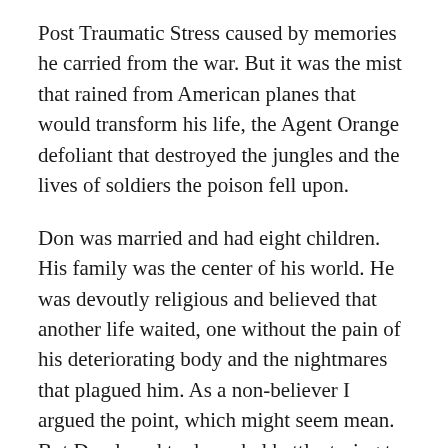Post Traumatic Stress caused by memories he carried from the war. But it was the mist that rained from American planes that would transform his life, the Agent Orange defoliant that destroyed the jungles and the lives of soldiers the poison fell upon.
Don was married and had eight children. His family was the center of his world. He was devoutly religious and believed that another life waited, one without the pain of his deteriorating body and the nightmares that plagued him. As a non-believer I argued the point, which might seem mean. But Don loved to do verbal battle, trying to convince me that my skepticism was misplaced.
We talked endlessly, often about my failing marriage to an alcoholic, my sadness at the loss